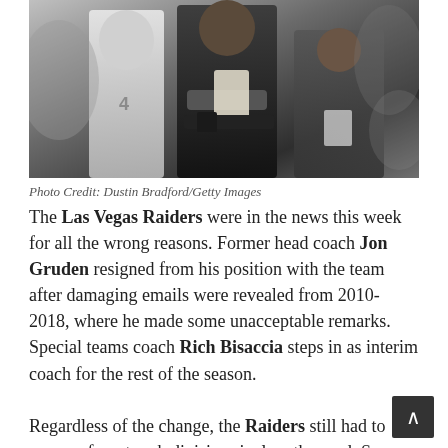[Figure (photo): Football sideline photo showing coaches and players, dark and light clothing, blurred crowd background]
Photo Credit: Dustin Bradford/Getty Images
The Las Vegas Raiders were in the news this week for all the wrong reasons. Former head coach Jon Gruden resigned from his position with the team after damaging emails were revealed from 2010-2018, where he made some unacceptable remarks. Special teams coach Rich Bisaccia steps in as interim coach for the rest of the season.

Regardless of the change, the Raiders still had to prepare for a tough division rival on the road. So what would the Silver and Black show on the field after a week of change and turmoil while riding to...